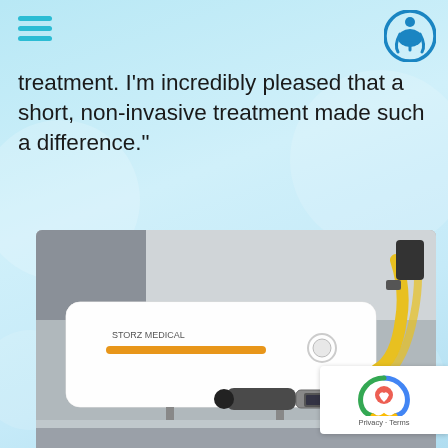treatment. I'm incredibly pleased that a short, non-invasive treatment made such a difference."
[Figure (photo): Medical device – Storz Medical shockwave therapy machine with handheld applicator on a metal stand, white rectangular unit with orange stripe and yellow cable.]
Treatment areas can include the knee, heel, foot, ankle, hamstring, back, neck, shoulder, wrist, and hand. Painful conditions such as rotator cuff deterioration, tennis elbow, and plantar fasciitis show demonstrative